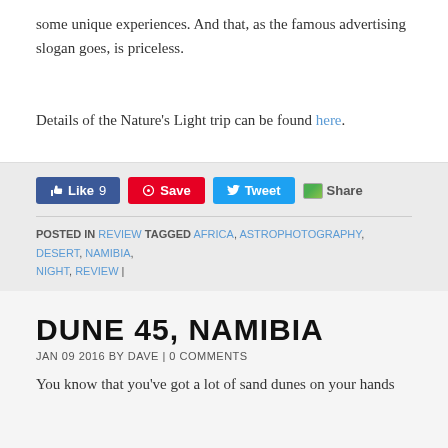some unique experiences. And that, as the famous advertising slogan goes, is priceless.
Details of the Nature's Light trip can be found here.
[Figure (infographic): Social sharing buttons: Facebook Like (9), Pinterest Save, Twitter Tweet, Share]
POSTED IN REVIEW TAGGED AFRICA, ASTROPHOTOGRAPHY, DESERT, NAMIBIA, NIGHT, REVIEW |
DUNE 45, NAMIBIA
JAN 09 2016 BY DAVE | 0 COMMENTS
You know that you've got a lot of sand dunes on your hands